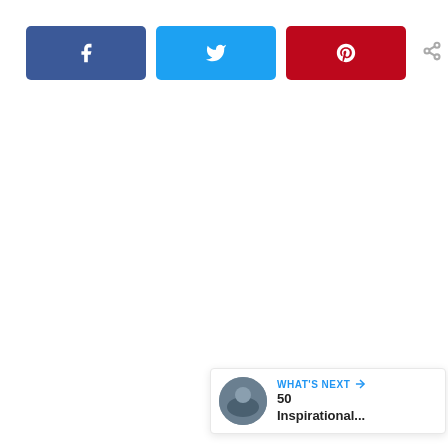[Figure (screenshot): Social share bar with Facebook (blue), Twitter (cyan), Pinterest (red) buttons and share count showing 215 SHARES]
[Figure (infographic): Floating side widget with heart button (216 likes) and share button]
[Figure (infographic): What's Next panel with thumbnail and text '50 Inspirational...']